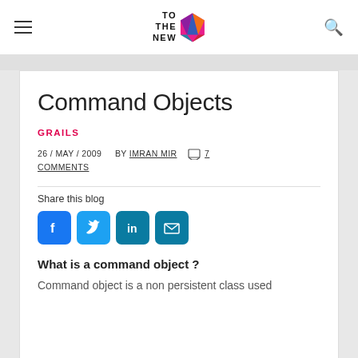TO THE NEW [logo]
Command Objects
GRAILS
26 / MAY / 2009   BY IMRAN MIR   7 COMMENTS
Share this blog
[Figure (infographic): Social share buttons: Facebook, Twitter, LinkedIn, Email]
What is a command object ?
Command object is a non persistent class used